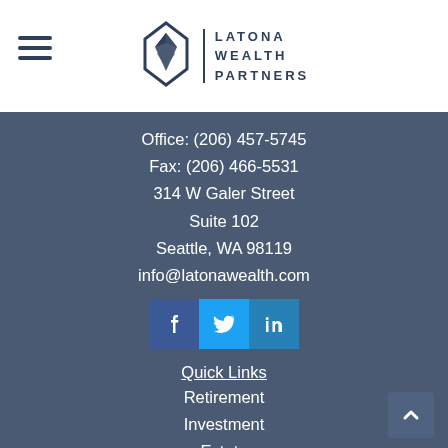[Figure (logo): Latona Wealth Partners logo with icon and text, plus hamburger menu icon]
Office: (206) 457-5745
Fax: (206) 466-5531
314 W Galer Street
Suite 102
Seattle, WA 98119
info@latonawealth.com
[Figure (other): Social media icons: Facebook (dark blue), Twitter (light blue), LinkedIn (blue)]
Quick Links
Retirement
Investment
Estate
Insurance
Tax
Money